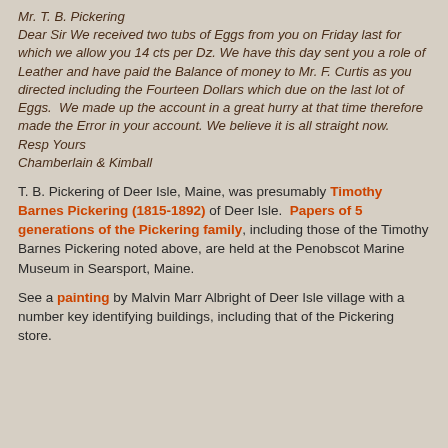Mr. T. B. Pickering
Dear Sir We received two tubs of Eggs from you on Friday last for which we allow you 14 cts per Dz. We have this day sent you a role of Leather and have paid the Balance of money to Mr. F. Curtis as you directed including the Fourteen Dollars which due on the last lot of Eggs.  We made up the account in a great hurry at that time therefore made the Error in your account. We believe it is all straight now.
Resp Yours
Chamberlain & Kimball
T. B. Pickering of Deer Isle, Maine, was presumably Timothy Barnes Pickering (1815-1892) of Deer Isle.  Papers of 5 generations of the Pickering family, including those of the Timothy Barnes Pickering noted above, are held at the Penobscot Marine Museum in Searsport, Maine.
See a painting by Malvin Marr Albright of Deer Isle village with a number key identifying buildings, including that of the Pickering store.